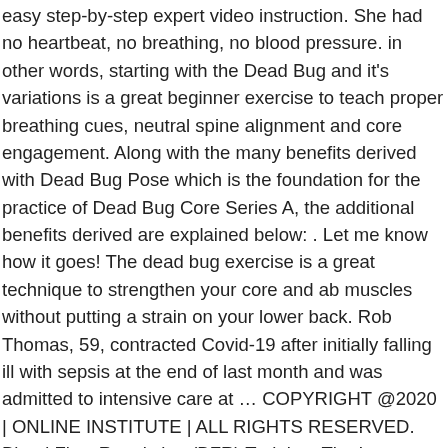easy step-by-step expert video instruction. She had no heartbeat, no breathing, no blood pressure. in other words, starting with the Dead Bug and it's variations is a great beginner exercise to teach proper breathing cues, neutral spine alignment and core engagement. Along with the many benefits derived with Dead Bug Pose which is the foundation for the practice of Dead Bug Core Series A, the additional benefits derived are explained below: . Let me know how it goes! The dead bug exercise is a great technique to strengthen your core and ab muscles without putting a strain on your lower back. Rob Thomas, 59, contracted Covid-19 after initially falling ill with sepsis at the end of last month and was admitted to intensive care at … COPYRIGHT @2020 | ONLINE INSTITUTE | ALL RIGHTS RESERVED. Blood Flow Restriction (BFR) Training: The Latest Exercise Method for Injury Rehabilitation and Strength Gains. Training the heart as a whole: Benefits of Combining Endurance and Resistance Training. The Principle of Specificity: Is there a training benefit when using unstable surface's such as Swiss/Stability/Bosu